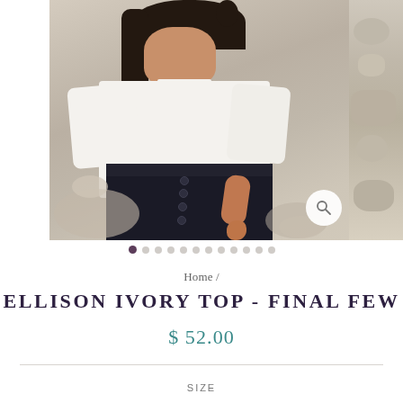[Figure (photo): Fashion photo of a woman wearing a white bell-sleeve top and dark high-waisted button-fly jeans, standing outdoors on a rocky/pebbly beach. A magnify/zoom icon appears in the bottom-right of the image. The image extends slightly off-frame to the right showing a partial second photo.]
• • • • • • • • • • • • (image carousel dots, first dot active)
Home /
ELLISON IVORY TOP - FINAL FEW
$ 52.00
SIZE